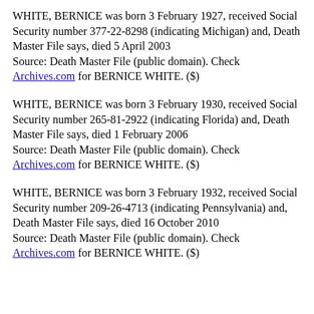WHITE, BERNICE was born 3 February 1927, received Social Security number 377-22-8298 (indicating Michigan) and, Death Master File says, died 5 April 2003
Source: Death Master File (public domain). Check Archives.com for BERNICE WHITE. ($)
WHITE, BERNICE was born 3 February 1930, received Social Security number 265-81-2922 (indicating Florida) and, Death Master File says, died 1 February 2006
Source: Death Master File (public domain). Check Archives.com for BERNICE WHITE. ($)
WHITE, BERNICE was born 3 February 1932, received Social Security number 209-26-4713 (indicating Pennsylvania) and, Death Master File says, died 16 October 2010
Source: Death Master File (public domain). Check Archives.com for BERNICE WHITE. ($)